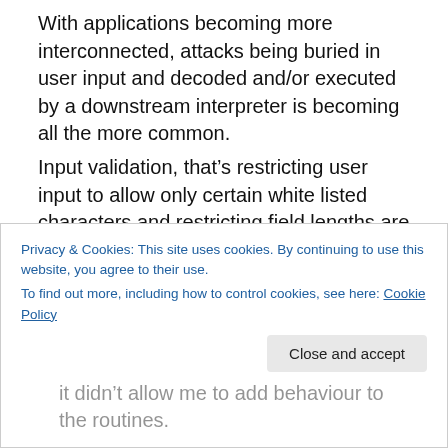With applications becoming more interconnected, attacks being buried in user input and decoded and/or executed by a downstream interpreter is becoming all the more common.
Input validation, that’s restricting user input to allow only certain white listed characters and restricting field lengths are only two forms of defence.
Any decent attacker can get around client side validation, so you need to employ defence in depth.
validation and escaping also needs to be performed on the
Privacy & Cookies: This site uses cookies. By continuing to use this website, you agree to their use.
To find out more, including how to control cookies, see here: Cookie Policy
it didn’t allow me to add behaviour to the routines.